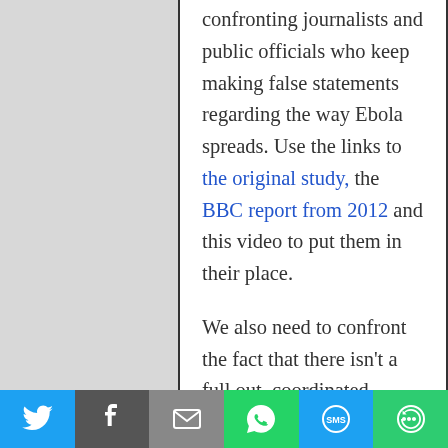confronting journalists and public officials who keep making false statements regarding the way Ebola spreads. Use the links to the original study, the BBC report from 2012 and this video to put them in their place.

We also need to confront the fact that there isn't a full out, coordinated, international effort to contain this. This is being treated like a sideshow but it has the very real potential to become a